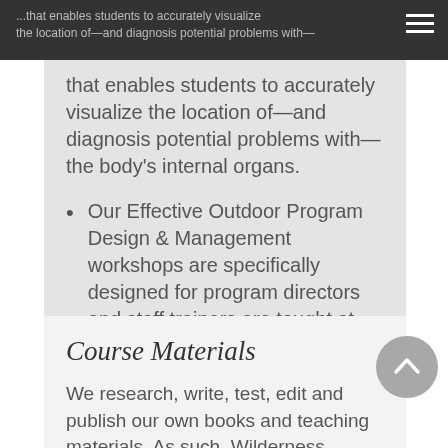...that enables students to accurately visualize the location of—and diagnosis potential problems with—the body's internal organs.
Our Effective Outdoor Program Design & Management workshops are specifically designed for program directors and staff trainers are taught at national and international conferences annually.
Course Materials
We research, write, test, edit and publish our own books and teaching materials. As such, Wilderness Medicine Training Center students receive the tools